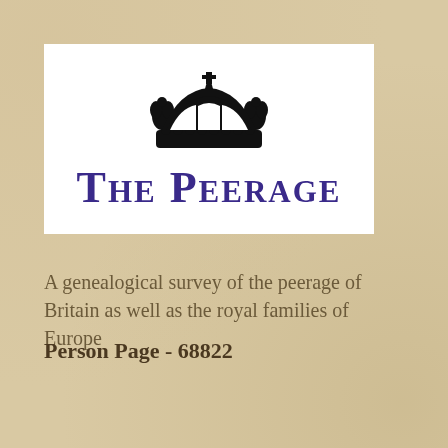[Figure (logo): The Peerage logo with a black crown above the text 'THE PEERAGE' in large purple small-caps font on a white background]
A genealogical survey of the peerage of Britain as well as the royal families of Europe
Person Page - 68822